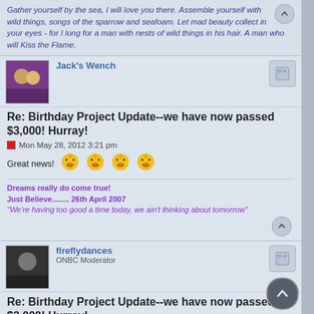Gather yourself by the sea, I will love you there. Assemble yourself with wild things, songs of the sparrow and seafoam. Let mad beauty collect in your eyes - for I long for a man with nests of wild things in his hair. A man who will Kiss the Flame.
Jack's Wench
Re: Birthday Project Update--we have now passed $3,000! Hurray!
Mon May 28, 2012 3:21 pm
Great news!
Dreams really do come true!
Just Believe........ 26th April 2007
"We're having too good a time today, we ain't thinking about tomorrow"
fireflydances
ONBC Moderator
Re: Birthday Project Update--we have now passed $3,000! Hurray!
Mon May 28, 2012 3:56 pm